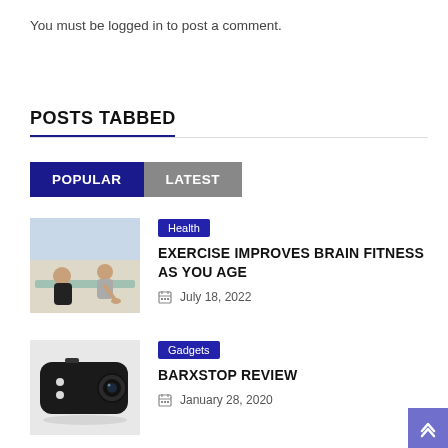You must be logged in to post a comment.
POSTS TABBED
POPULAR  LATEST
[Figure (photo): Two women doing yoga/stretching exercises on a mat indoors]
Health
EXERCISE IMPROVES BRAIN FITNESS AS YOU AGE
July 18, 2022
[Figure (photo): A black handheld electronic gadget device with camera lens and lights]
Gadgets
BARXSTOP REVIEW
January 28, 2020